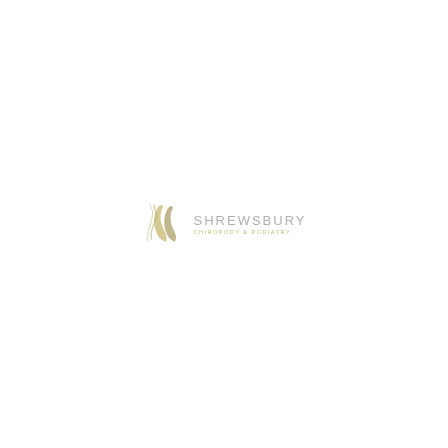[Figure (logo): Shrewsbury Chiropody & Podiatry logo: stylized foot/leg silhouette icon in olive/gold tones on the left, with 'SHREWSBURY' in light grey uppercase letters and 'CHIROPODY & PODIATRY' in small gold/olive uppercase letters on the right.]